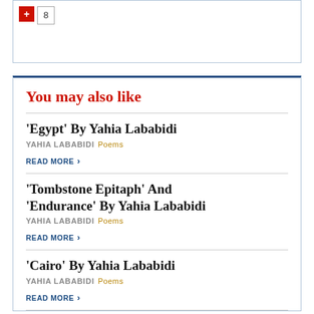[Figure (screenshot): Top UI box with red plus button and badge showing number 8]
You may also like
'Egypt' By Yahia Lababidi
YAHIA LABABIDI Poems
READ MORE
'Tombstone Epitaph' And 'Endurance' By Yahia Lababidi
YAHIA LABABIDI Poems
READ MORE
'Cairo' By Yahia Lababidi
YAHIA LABABIDI Poems
READ MORE